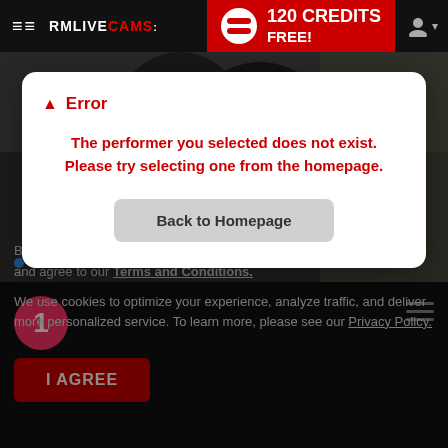≡≡ RMLIVECAMS: | 120 CREDITS FREE!
[Figure (screenshot): Background showing two people embracing, partially obscured]
● Allan...
⚠ Error
The performer you selected does not exist. Please try selecting one from the homepage.
Back to Homepage
By using the site, you acknowledge you have read our Privacy Policy, and agree to our Terms and Conditions.
We use cookies to optimize your experience, analyze traffic, and deliver more personalized service. To learn more, please see our Privacy Policy.
I AGREE